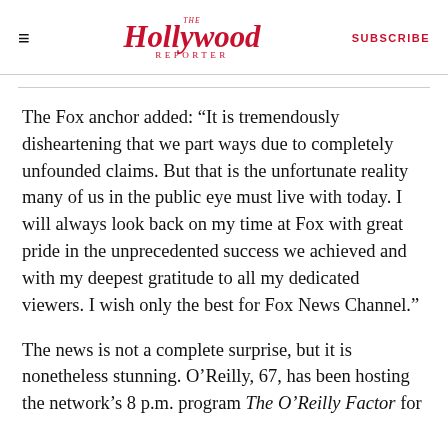The Hollywood Reporter | SUBSCRIBE
The Fox anchor added: “It is tremendously disheartening that we part ways due to completely unfounded claims. But that is the unfortunate reality many of us in the public eye must live with today. I will always look back on my time at Fox with great pride in the unprecedented success we achieved and with my deepest gratitude to all my dedicated viewers. I wish only the best for Fox News Channel.”
The news is not a complete surprise, but it is nonetheless stunning. O’Reilly, 67, has been hosting the network’s 8 p.m. program The O’Reilly Factor for